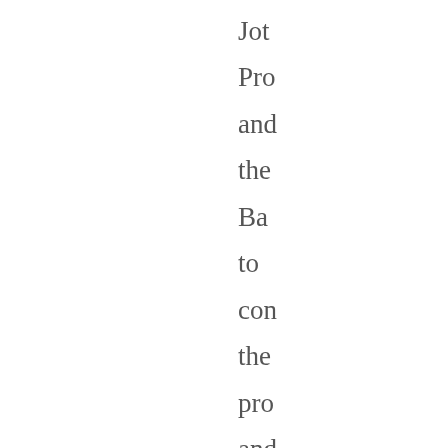Jot Pro and the Ba to con the pro and con of eac Le sta wit the go ne